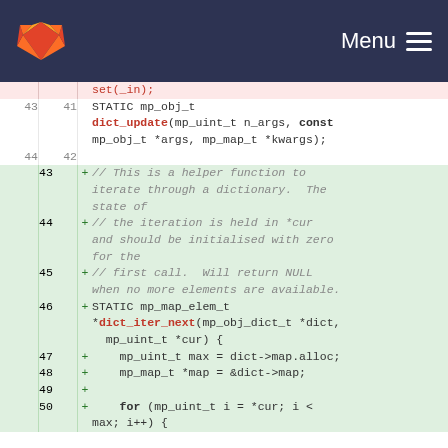Menu
[Figure (screenshot): GitLab diff view showing code with line numbers. Lines 43-50 visible. Neutral lines show STATIC mp_obj_t dict_update declaration. Green added lines show helper function comments and dict_iter_next function declaration with body beginning.]